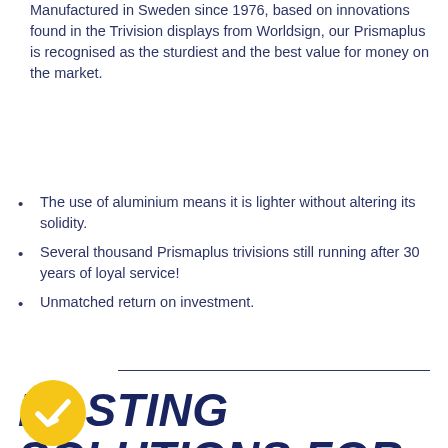Manufactured in Sweden since 1976, based on innovations found in the Trivision displays from Worldsign, our Prismaplus is recognised as the sturdiest and the best value for money on the market.
The use of aluminium means it is lighter without altering its solidity.
Several thousand Prismaplus trivisions still running after 30 years of loyal service!
Unmatched return on investment.
POSTING SOLUTIONS FOR THE THREE SIDES OF THE TRIVISION